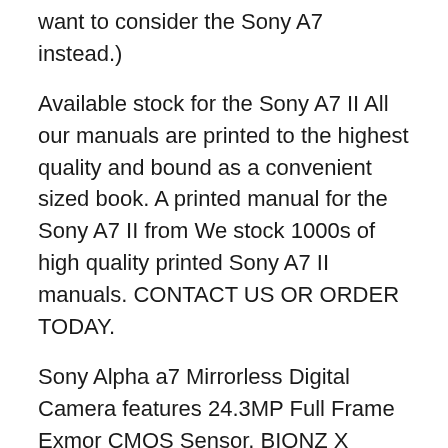want to consider the Sony A7 instead.)
Available stock for the Sony A7 II All our manuals are printed to the highest quality and bound as a convenient sized book. A printed manual for the Sony A7 II from We stock 1000s of high quality printed Sony A7 II manuals. CONTACT US OR ORDER TODAY.
Sony Alpha a7 Mirrorless Digital Camera features 24.3MP Full Frame Exmor CMOS Sensor, BIONZ X Image Processor. Review Sony вЂ¦ Sony Alpha A7 II О±7 II ILCE-7M2 PDF User Manual, User Guide, Instructions Download, Sony Alpha A7 II О±7 II ILCE-7M2 Owner's Manual View Online.
See all results for sony camera manuals. Sony a7…